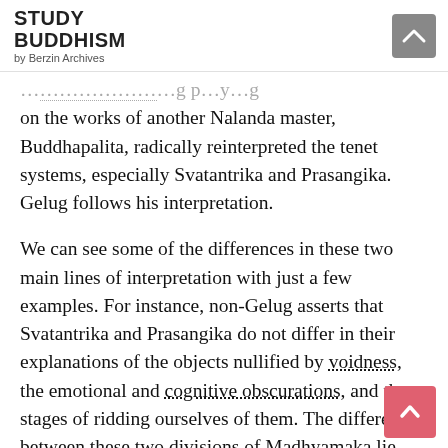STUDY BUDDHISM by Berzin Archives
on the works of another Nalanda master, Buddhapalita, radically reinterpreted the tenet systems, especially Svatantrika and Prasangika. Gelug follows his interpretation.
We can see some of the differences in these two main lines of interpretation with just a few examples. For instance, non-Gelug asserts that Svatantrika and Prasangika do not differ in their explanations of the objects nullified by voidness, the emotional and cognitive obscurations, and the stages of ridding ourselves of them. The differences between these two divisions of Madhyamaka lie mainly in the approach toward logic and whether or not any positive assertions can be made about anything. Gelug asserts that these two divisions of Madhyamaka have different assertions concerning the objects nullified by voidness, the emotional and cognitive obscurations, and the stages of ridding